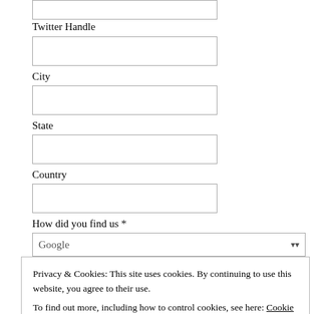[Figure (other): Partial input field at top of page (cropped)]
Twitter Handle
[Figure (other): Text input field for Twitter Handle]
City
[Figure (other): Text input field for City]
State
[Figure (other): Text input field for State]
Country
[Figure (other): Text input field for Country]
How did you find us *
[Figure (other): Dropdown field showing 'Google' with arrow]
Privacy & Cookies: This site uses cookies. By continuing to use this website, you agree to their use.
To find out more, including how to control cookies, see here: Cookie Policy
Close and accept
guarantee that your data will be completely confidential.